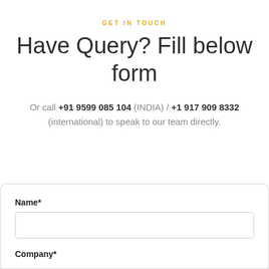GET IN TOUCH
Have Query? Fill below form
Or call +91 9599 085 104 (INDIA) / +1 917 909 8332 (international) to speak to our team directly.
Name*
Company*